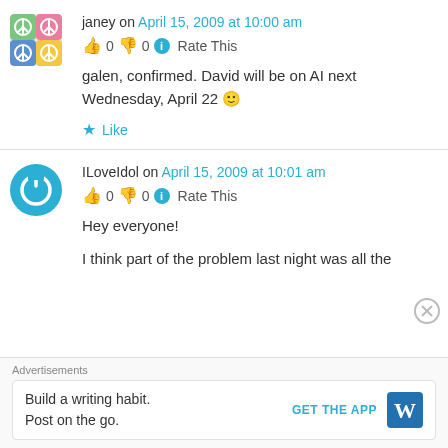janey on April 15, 2009 at 10:00 am
👍 0 👎 0 ℹ Rate This
galen, confirmed. David will be on AI next Wednesday, April 22 🙂
★ Like
ILoveIdol on April 15, 2009 at 10:01 am
👍 0 👎 0 ℹ Rate This
Hey everyone!
I think part of the problem last night was all the
Advertisements
Build a writing habit.
Post on the go.
GET THE APP